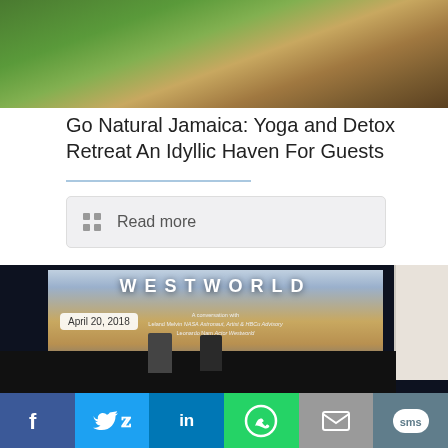[Figure (photo): Photo of a person in a green shirt with a dog outdoors on a wooden bench area with grass]
Go Natural Jamaica: Yoga and Detox Retreat An Idyllic Haven For Guests
Read more
[Figure (photo): Photo of a Westworld presentation/panel discussion. Screen shows WESTWORLD title. Date badge: April 20, 2018. Two speakers seated on stage.]
Share bar with Facebook, Twitter, LinkedIn, WhatsApp, Email, SMS icons